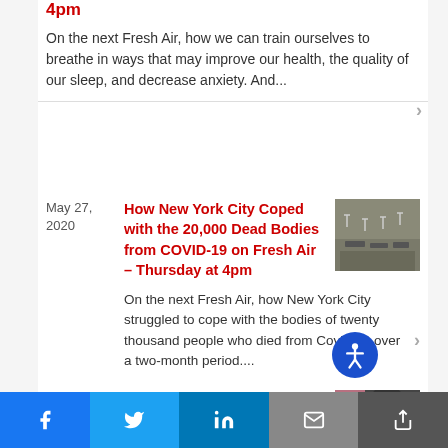4pm
On the next Fresh Air, how we can train ourselves to breathe in ways that may improve our health, the quality of our sleep, and decrease anxiety. And...
May 27, 2020
How New York City Coped with the 20,000 Dead Bodies from COVID-19 on Fresh Air – Thursday at 4pm
[Figure (photo): Aerial photo of burial site or mass grave]
On the next Fresh Air, how New York City struggled to cope with the bodies of twenty thousand people who died from Covid-19 over a two-month period....
May 25, 2020
Comic Hannah Gadsby Shares the Pain of Growing
[Figure (photo): Partial photo of a person with dark hair against pink/dark background]